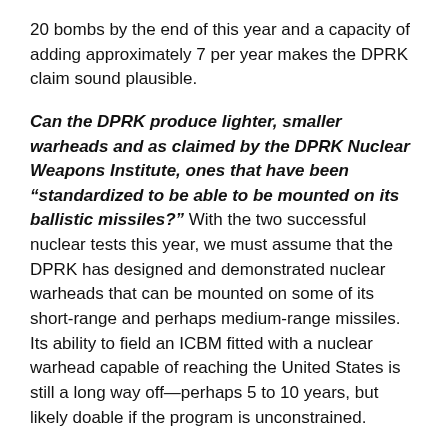20 bombs by the end of this year and a capacity of adding approximately 7 per year makes the DPRK claim sound plausible.
Can the DPRK produce lighter, smaller warheads and as claimed by the DPRK Nuclear Weapons Institute, ones that have been “standardized to be able to be mounted on its ballistic missiles?” With the two successful nuclear tests this year, we must assume that the DPRK has designed and demonstrated nuclear warheads that can be mounted on some of its short-range and perhaps medium-range missiles. Its ability to field an ICBM fitted with a nuclear warhead capable of reaching the United States is still a long way off—perhaps 5 to 10 years, but likely doable if the program is unconstrained.
As much as a doomsday nuclear shot at the United States worries Americans, it is not what I consider to be the primary threat from Pyongyang—a subject that is...